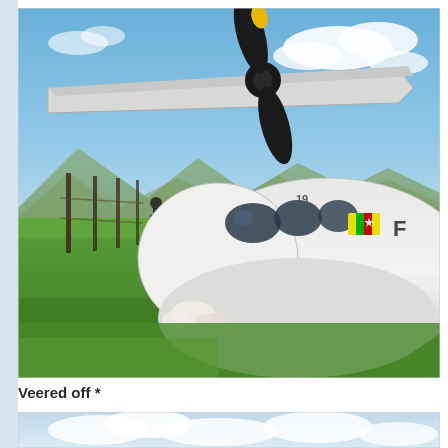[Figure (photo): A white turboprop aircraft with Myanmar flag livery markings has veered off a runway and is resting nose-down in green grass vegetation. The propeller is visible at the top left. A person stands in the background near a fence. Mountains and blue sky with clouds are visible in the background.]
Veered off *
[Figure (photo): Partial bottom portion of another aircraft photo, showing blue sky and white clouds at the bottom of the page.]